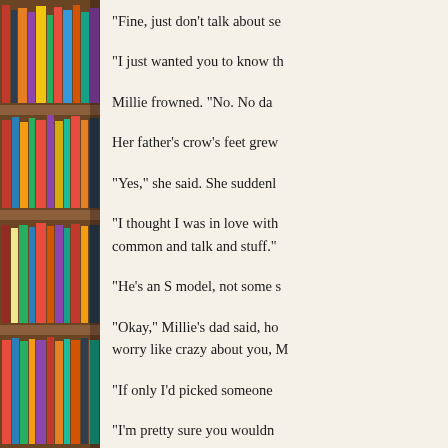[Figure (photo): Photograph of colorful books on wooden bookshelves, viewed from the side, spanning the full height of the page on the left column.]
“Fine, just don’t talk about se
“I just wanted you to know th
Millie frowned.  “No.  No da
Her father’s crow’s feet grew
“Yes,” she said.  She suddenl
"I thought I was in love with common and talk and stuff."
"He's an S model, not some s
"Okay," Millie's dad said, ho worry like crazy about you, M
“If only I’d picked someone
“I’m pretty sure you wouldn